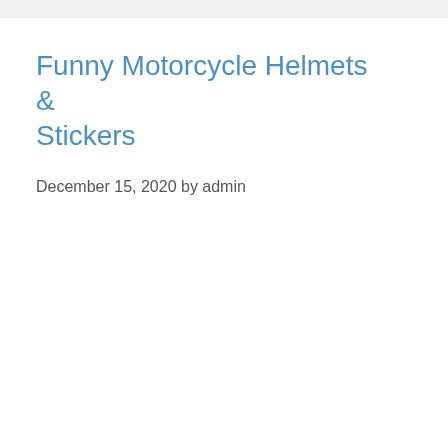Funny Motorcycle Helmets & Stickers
December 15, 2020 by admin